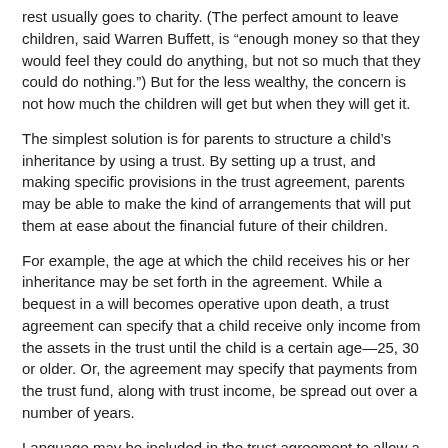rest usually goes to charity. (The perfect amount to leave children, said Warren Buffett, is “enough money so that they would feel they could do anything, but not so much that they could do nothing.”) But for the less wealthy, the concern is not how much the children will get but when they will get it.
The simplest solution is for parents to structure a child’s inheritance by using a trust. By setting up a trust, and making specific provisions in the trust agreement, parents may be able to make the kind of arrangements that will put them at ease about the financial future of their children.
For example, the age at which the child receives his or her inheritance may be set forth in the agreement. While a bequest in a will becomes operative upon death, a trust agreement can specify that a child receive only income from the assets in the trust until the child is a certain age—25, 30 or older. Or, the agreement may specify that payments from the trust fund, along with trust income, be spread out over a number of years.
Language may be included in the trust agreement to allow a child to use trust funds for approved purposes; typically for “health, maintenance, welfare and education.” On the opposite end of the spectrum, parents may want the funds to be untouched; some